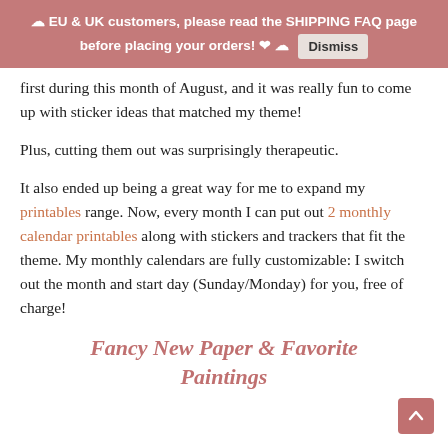☁ EU & UK customers, please read the SHIPPING FAQ page before placing your orders! ❤ ☁  Dismiss
first during this month of August, and it was really fun to come up with sticker ideas that matched my theme!
Plus, cutting them out was surprisingly therapeutic.
It also ended up being a great way for me to expand my printables range. Now, every month I can put out 2 monthly calendar printables along with stickers and trackers that fit the theme. My monthly calendars are fully customizable: I switch out the month and start day (Sunday/Monday) for you, free of charge!
Fancy New Paper & Favorite Paintings